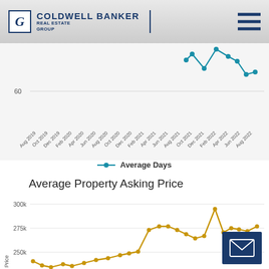[Figure (logo): Coldwell Banker Real Estate Group logo with blue square containing stylized G, brand name in bold navy, and hamburger menu icon on right]
[Figure (line-chart): Partial view of Average Days on Market line chart showing data from Aug 2019 to Aug 2022. Teal line with dots showing values around 60 visible at bottom, with higher values visible at top right around Oct 2021 through Aug 2022.]
Average Days
Average Property Asking Price
[Figure (line-chart): Partial view of Average Property Asking Price line chart. Gold/dark yellow line with dots. Y-axis shows values 250k, 275k, 300k. Line starts around 238k in 2019, dips, then rises sharply from 2021 onwards to a peak around 295k in early 2022, then fluctuates around 275-285k through Aug 2022.]